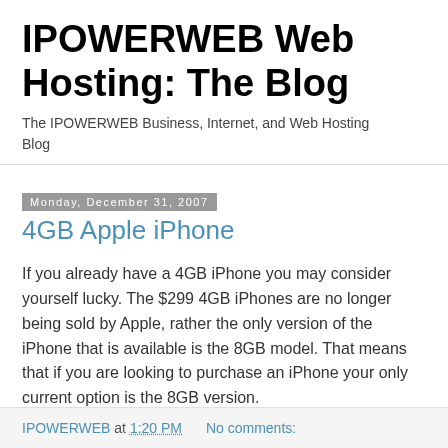IPOWERWEB Web Hosting: The Blog
The IPOWERWEB Business, Internet, and Web Hosting Blog
Monday, December 31, 2007
4GB Apple iPhone
If you already have a 4GB iPhone you may consider yourself lucky. The $299 4GB iPhones are no longer being sold by Apple, rather the only version of the iPhone that is available is the 8GB model. That means that if you are looking to purchase an iPhone your only current option is the 8GB version.
IPOWERWEB at 1:20 PM   No comments: